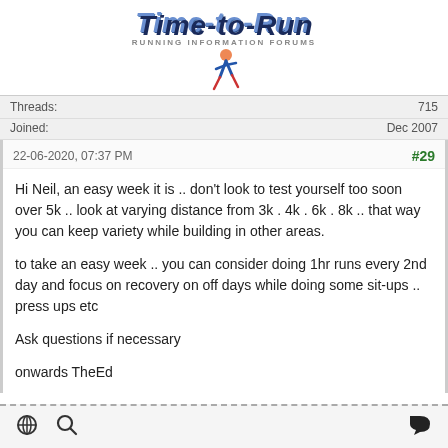[Figure (logo): Time-to-Run Running Information Forums logo with stylized blue text and runner icon]
Threads: 715
Joined: Dec 2007
22-06-2020, 07:37 PM  #29
Hi Neil, an easy week it is .. don't look to test yourself too soon over 5k .. look at varying distance from 3k . 4k . 6k . 8k .. that way you can keep variety while building in other areas.

to take an easy week .. you can consider doing 1hr runs every 2nd day and focus on recovery on off days while doing some sit-ups .. press ups etc

Ask questions if necessary

onwards TheEd
globe icon  search icon  chat icon